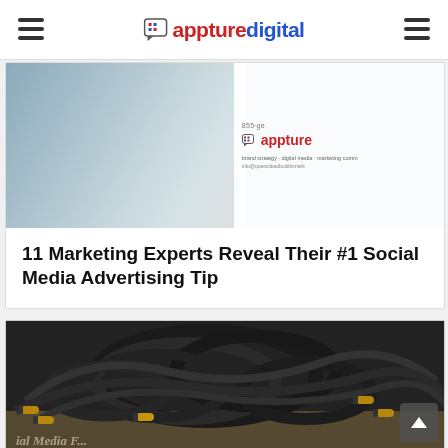appturedigital
[Figure (photo): Banner image showing a person in a white coat on the left side, with an appturedigital branding overlay on the right side showing the logo and contact/tagline information]
11 Marketing Experts Reveal Their #1 Social Media Advertising Tip
[Figure (photo): Close-up photo of tangled black audio cables/connectors with gold-tipped 3.5mm audio jacks, with partial text visible at the bottom reading 'Social Media F...']